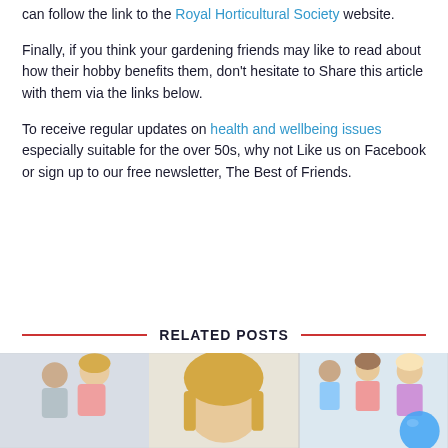can follow the link to the Royal Horticultural Society website.
Finally, if you think your gardening friends may like to read about how their hobby benefits them, don’t hesitate to Share this article with them via the links below.
To receive regular updates on health and wellbeing issues especially suitable for the over 50s, why not Like us on Facebook or sign up to our free newsletter, The Best of Friends.
RELATED POSTS
[Figure (photo): Group photos of smiling older adults, used as related post thumbnails at the bottom of the page.]